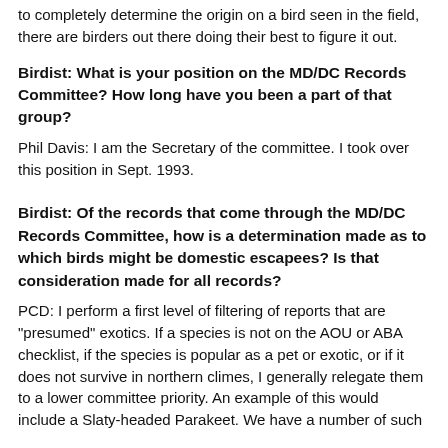to completely determine the origin on a bird seen in the field, there are birders out there doing their best to figure it out.
Birdist: What is your position on the MD/DC Records Committee?  How long have you been a part of that group?
Phil Davis: I am the Secretary of the committee. I took over this position in Sept. 1993.
Birdist: Of the records that come through the MD/DC Records Committee, how is a determination made as to which birds might be domestic escapees?  Is that consideration made for all records?
PCD: I perform a first level of filtering of reports that are "presumed" exotics. If a species is not on the AOU or ABA checklist, if the species is popular as a pet or exotic, or if it does not survive in northern climes, I generally relegate them to a lower committee priority. An example of this would include a Slaty-headed Parakeet. We have a number of such